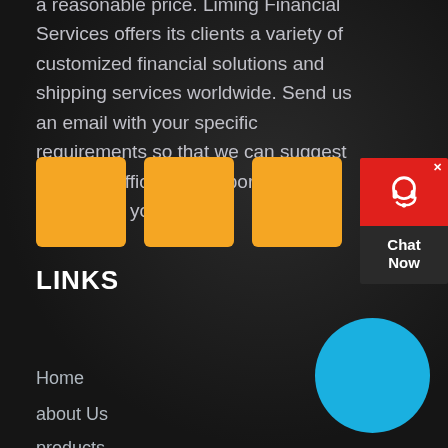a reasonable price. Liming Financial Services offers its clients a variety of customized financial solutions and shipping services worldwide. Send us an email with your specific requirements so that we can suggest the most efficient transportation options for your goods.
[Figure (other): Three orange/amber colored square thumbnail icons arranged horizontally]
[Figure (other): Chat Now widget with red top section showing headset icon and close button, dark bottom section with 'Chat Now' text]
LINKS
[Figure (other): Blue circle decorative element]
Home
about Us
products